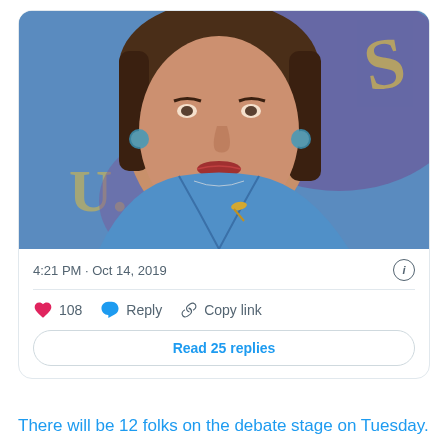[Figure (photo): Photo of a woman in a blue blazer with turquoise earrings and a gold brooch, in front of a blue U.S. flag background]
4:21 PM · Oct 14, 2019
108  Reply  Copy link
Read 25 replies
There will be 12 folks on the debate stage on Tuesday.